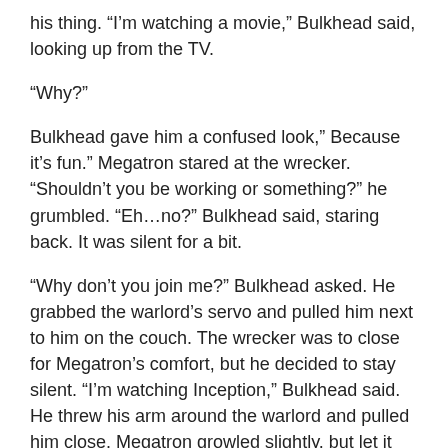his thing. “I’m watching a movie,” Bulkhead said, looking up from the TV.
“Why?”
Bulkhead gave him a confused look,” Because it’s fun.” Megatron stared at the wrecker. “Shouldn’t you be working or something?” he grumbled. “Eh…no?” Bulkhead said, staring back. It was silent for a bit.
“Why don’t you join me?” Bulkhead asked. He grabbed the warlord’s servo and pulled him next to him on the couch. The wrecker was to close for Megatron’s comfort, but he decided to stay silent. “I’m watching Inception,” Bulkhead said. He threw his arm around the warlord and pulled him close. Megatron growled slightly, but let it happen.
All through the movie Bulkhead held the warlord close.